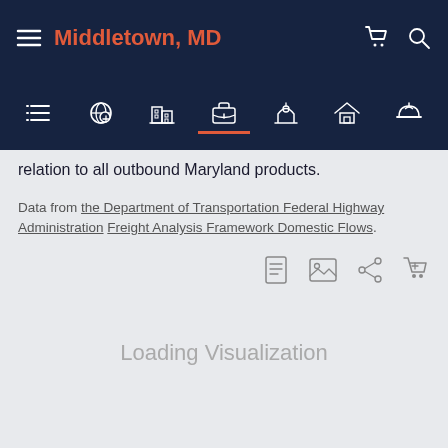Middletown, MD
relation to all outbound Maryland products.
Data from the Department of Transportation Federal Highway Administration Freight Analysis Framework Domestic Flows.
[Figure (screenshot): Loading Visualization placeholder area]
Loading Visualization